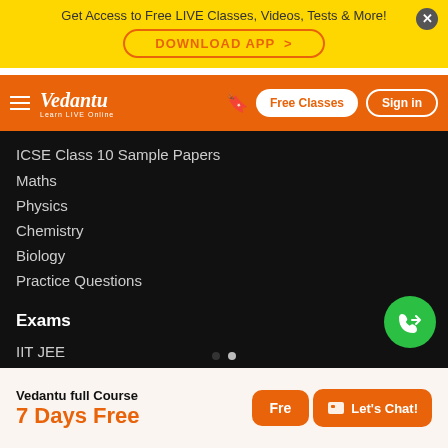Get Access to Free LIVE Classes, Videos, Tests & More!
DOWNLOAD APP >
[Figure (logo): Vedantu logo with tagline Learn LIVE Online on orange navbar with hamburger menu, bookmark icon, Free Classes button, Sign in button]
ICSE Class 10 Sample Papers
Maths
Physics
Chemistry
Biology
Practice Questions
Exams
IIT JEE
NEET
AIIMS
KVPY
KCET
COMEDK
Vedantu full Course
7 Days Free
Free
Let's Chat!